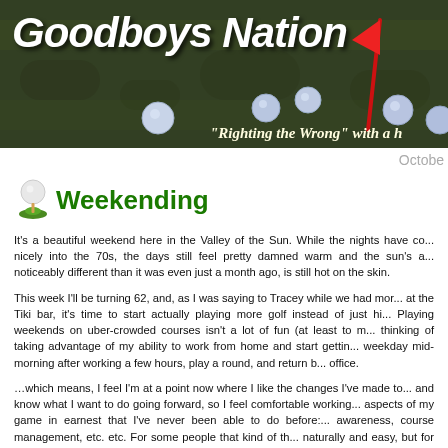[Figure (photo): Golf course header banner with dark green grass background, blue golf balls, a red flag pin, and large italic white text 'Goodboys Nation' with subtitle 'Righting the Wrong with a h...']
Octobe...
Weekending
It's a beautiful weekend here in the Valley of the Sun. While the nights have co... nicely into the 70s, the days still feel pretty damned warm and the sun's a... noticeably different than it was even just a month ago, is still hot on the skin.
This week I'll be turning 62, and, as I was saying to Tracey while we had mor... at the Tiki bar, it's time to start actually playing more golf instead of just hi... Playing weekends on uber-crowded courses isn't a lot of fun (at least to m... thinking of taking advantage of my ability to work from home and start gettin... weekday mid-morning after working a few hours, play a round, and return b... office.
...which means, I feel I'm at a point now where I like the changes I've made to... and know what I want to do going forward, so I feel comfortable working... aspects of my game in earnest that I've never been able to do before:... awareness, course management, etc. etc. For some people that kind of th... naturally and easy, but for me it's something I need to work on. Fortunately, it...